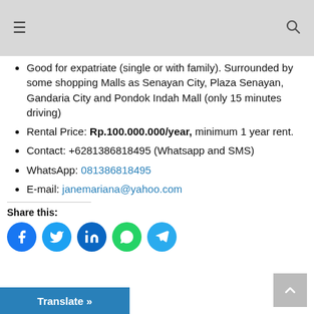≡ (hamburger menu) | (search icon)
Good for expatriate (single or with family). Surrounded by some shopping Malls as Senayan City, Plaza Senayan, Gandaria City and Pondok Indah Mall (only 15 minutes driving)
Rental Price: Rp.100.000.000/year, minimum 1 year rent.
Contact: +6281386818495 (Whatsapp and SMS)
WhatsApp: 081386818495
E-mail: janemariana@yahoo.com
Share this:
[Figure (infographic): Social share buttons: Facebook, Twitter, LinkedIn, WhatsApp, Telegram]
Translate »